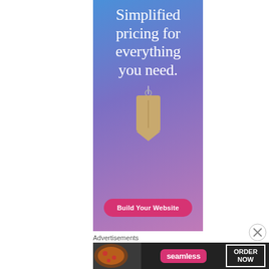[Figure (infographic): Advertisement banner with blue-to-purple gradient background, large white serif text reading 'Simplified pricing for everything you need.' with a hanging price tag illustration, and a pink 'Build Your Website' button at the bottom.]
Advertisements
[Figure (infographic): Seamless food delivery advertisement banner showing pizza slices on the left, Seamless logo in pink rounded rectangle, and 'ORDER NOW' text in white bordered box on dark background.]